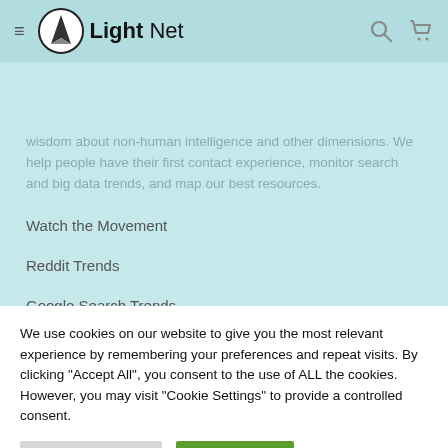Light Net
wisdom about non-human intelligence and other dimensions. We help people have their first contact experience, monitor search and big data trends, and map our best resources.
Watch the Movement
Reddit Trends
Google Search Trends
We use cookies on our website to give you the most relevant experience by remembering your preferences and repeat visits. By clicking "Accept All", you consent to the use of ALL the cookies. However, you may visit "Cookie Settings" to provide a controlled consent.